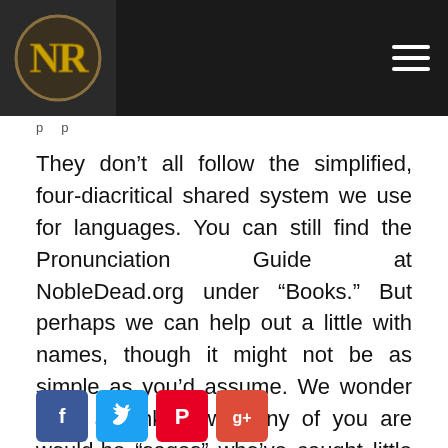[Figure (logo): NobleDead.org logo with stylized NR letters in gold on dark background, with navigation hamburger menu]
p...p
They don’t all follow the simplified, four-diacritical shared system we use for languages. You can still find the Pronunciation Guide at NobleDead.org under “Books.” But perhaps we can help out a little with names, though it might not be as simple as you’d assume. We wonder (with a wink) how many of you are would-be “sages” who’ve caught little details along the way and actually pieced them together, because a few of those have to do with names…
[Figure (other): Social media share buttons: Facebook, Twitter, Pinterest, Google+]